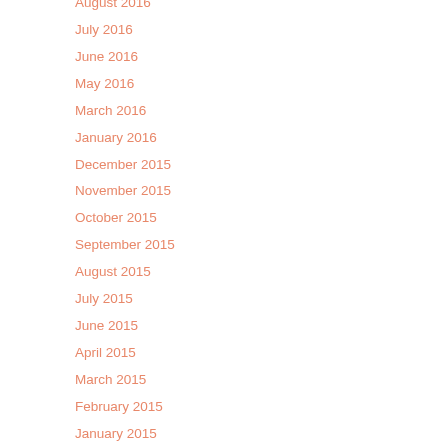August 2016
July 2016
June 2016
May 2016
March 2016
January 2016
December 2015
November 2015
October 2015
September 2015
August 2015
July 2015
June 2015
April 2015
March 2015
February 2015
January 2015
November 2014
October 2014